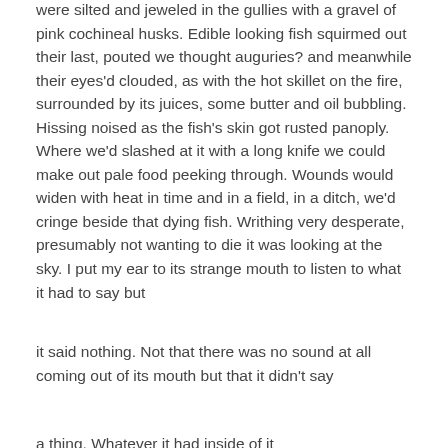were silted and jeweled in the gullies with a gravel of pink cochineal husks. Edible looking fish squirmed out their last, pouted we thought auguries? and meanwhile their eyes'd clouded, as with the hot skillet on the fire, surrounded by its juices, some butter and oil bubbling. Hissing noised as the fish's skin got rusted panoply. Where we'd slashed at it with a long knife we could make out pale food peeking through. Wounds would widen with heat in time and in a field, in a ditch, we'd cringe beside that dying fish. Writhing very desperate, presumably not wanting to die it was looking at the sky. I put my ear to its strange mouth to listen to what it had to say but
it said nothing. Not that there was no sound at all coming out of its mouth but that it didn't say
a thing. Whatever it had inside of it